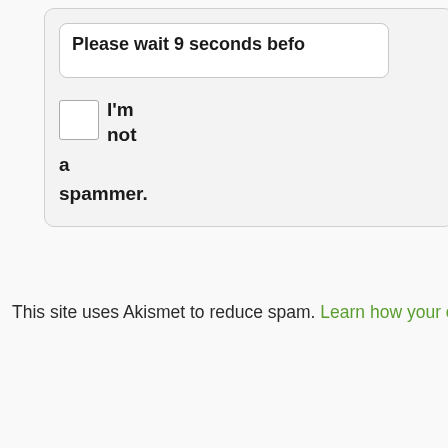Please wait 9 seconds befo
I'm not a spammer.
This site uses Akismet to reduce spam. Learn how your comment data is